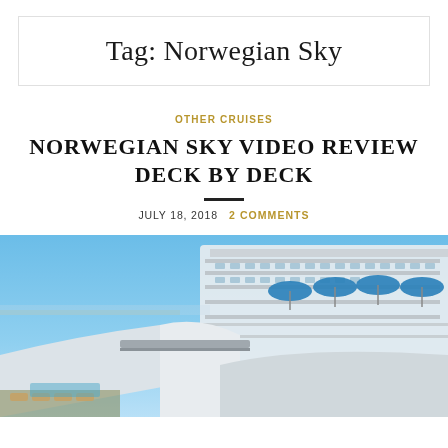Tag: Norwegian Sky
OTHER CRUISES
NORWEGIAN SKY VIDEO REVIEW DECK BY DECK
JULY 18, 2018   2 COMMENTS
[Figure (photo): Outdoor deck of Norwegian Sky cruise ship showing blue umbrellas, pool area, white ship structure, lounge chairs, and clear blue sky]